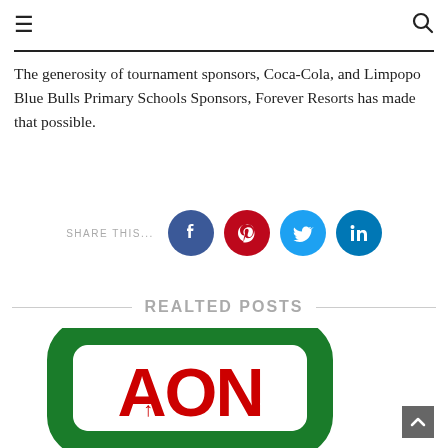☰  🔍
The generosity of tournament sponsors, Coca-Cola, and Limpopo Blue Bulls Primary Schools Sponsors, Forever Resorts has made that possible.
[Figure (infographic): Social share icons row with label SHARE THIS... followed by Facebook (dark blue), Pinterest (red), Twitter (light blue), LinkedIn (dark blue) circular icons]
REALTED POSTS
[Figure (logo): AON logo — large red AON text with arrow inside a thick green rounded rectangle border on white background]